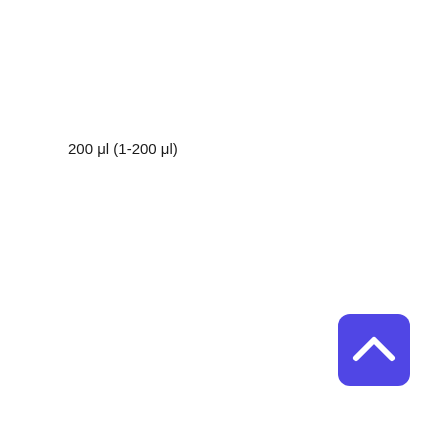200 μl (1-200 μl)
[Figure (other): A rounded square button with a purple/indigo background color containing a white upward-pointing chevron/caret arrow icon, located in the bottom-right area of the page.]